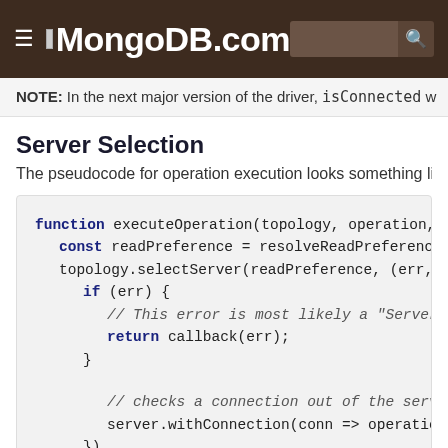MongoDB.com
NOTE: In the next major version of the driver, isConnected w
Server Selection
The pseudocode for operation execution looks something like thi
[Figure (screenshot): Code block showing JavaScript pseudocode for executeOperation function with topology.selectServer and server.withConnection calls]